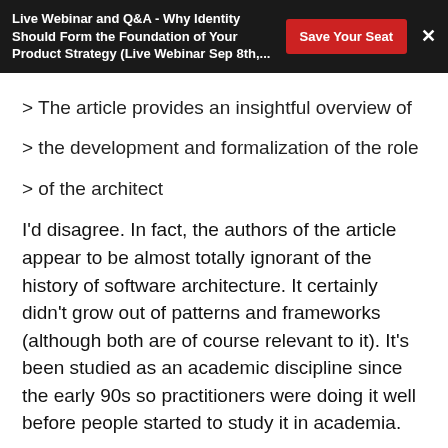Live Webinar and Q&A - Why Identity Should Form the Foundation of Your Product Strategy (Live Webinar Sep 8th,...
> The article provides an insightful overview of
> the development and formalization of the role
> of the architect
I'd disagree. In fact, the authors of the article appear to be almost totally ignorant of the history of software architecture. It certainly didn't grow out of patterns and frameworks (although both are of course relevant to it). It's been studied as an academic discipline since the early 90s so practitioners were doing it well before people started to study it in academia.
They also appear to miss some of the really